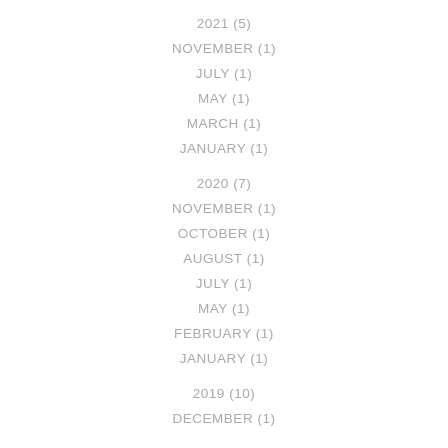2021 (5)
NOVEMBER (1)
JULY (1)
MAY (1)
MARCH (1)
JANUARY (1)
2020 (7)
NOVEMBER (1)
OCTOBER (1)
AUGUST (1)
JULY (1)
MAY (1)
FEBRUARY (1)
JANUARY (1)
2019 (10)
DECEMBER (1)